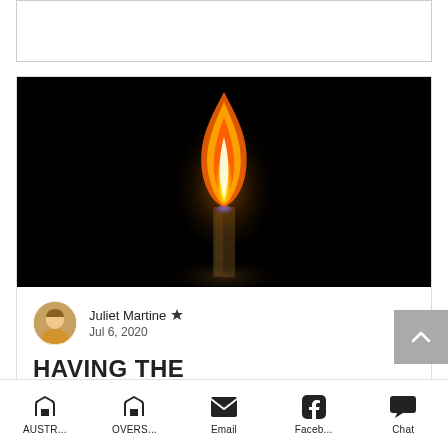[Figure (photo): Dark background photo of a lit candle with a tall orange/yellow flame and glass candle holder]
Juliet Martine 👑
Jul 6, 2020
HAVING THE COURAGE TO